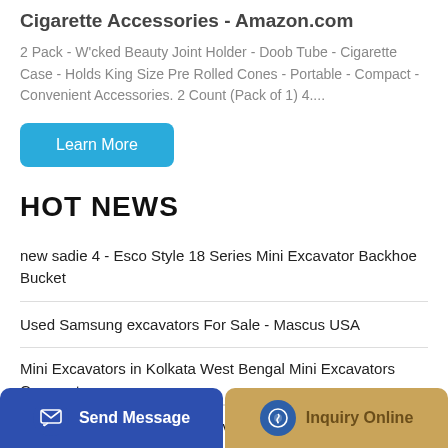Cigarette Accessories - Amazon.com
2 Pack - W'cked Beauty Joint Holder - Doob Tube - Cigarette Case - Holds King Size Pre Rolled Cones - Portable - Compact - Convenient Accessories. 2 Count (Pack of 1) 4....
[Figure (other): Learn More button (teal/blue rounded rectangle)]
HOT NEWS
new sadie 4 - Esco Style 18 Series Mini Excavator Backhoe Bucket
Used Samsung excavators For Sale - Mascus USA
Mini Excavators in Kolkata West Bengal Mini Excavators Compact
Which brands of German excavators
[Figure (other): Bottom navigation bar with Send Message button (blue) and Inquiry Online button (gold/tan)]